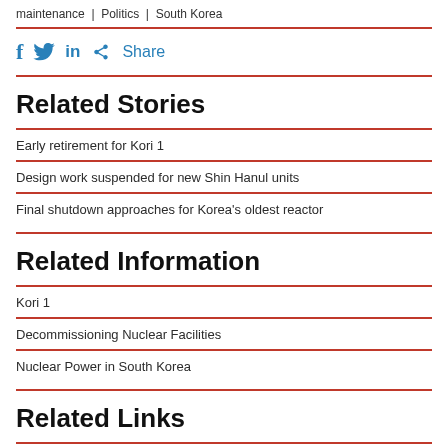maintenance | Politics | South Korea
Share (social icons: Facebook, Twitter, LinkedIn, Share)
Related Stories
Early retirement for Kori 1
Design work suspended for new Shin Hanul units
Final shutdown approaches for Korea's oldest reactor
Related Information
Kori 1
Decommissioning Nuclear Facilities
Nuclear Power in South Korea
Related Links
Korea Hydro & Nuclear Power (KHNP)